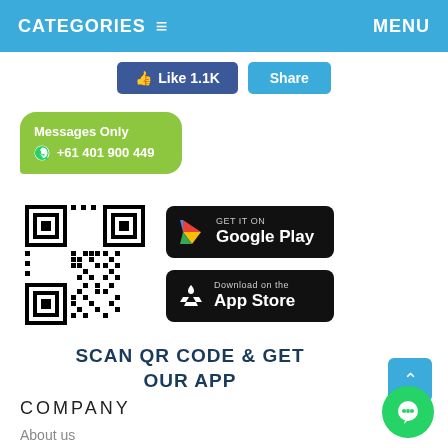CATEGORIES ≡   MENU
[Figure (screenshot): Like 1.1K and Share buttons]
Messages Only +61 401 900 449
[Figure (other): QR code and app store buttons (Google Play and App Store)]
SCAN QR CODE & GET OUR APP
COMPANY
About us